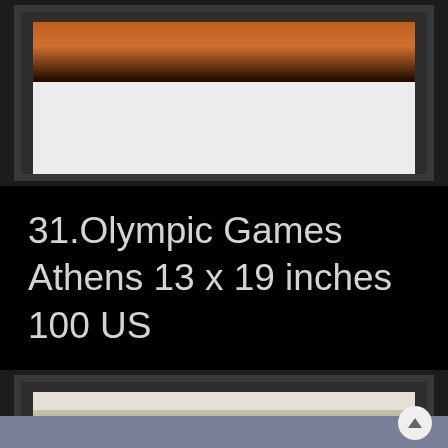[Figure (photo): Top portion of a framed photograph with black frame and white mat, showing a partial image with warm orange/brown tones at the top, partially cut off at page top]
31.Olympic Games Athens 13 x 19 inches 100 US
[Figure (photo): Framed photograph with black frame and white mat showing four children with dark curly hair sitting together in what appears to be a narrow room or bunk with white textured walls and wooden ceiling, wearing camouflage clothing, with colorful items beside them]